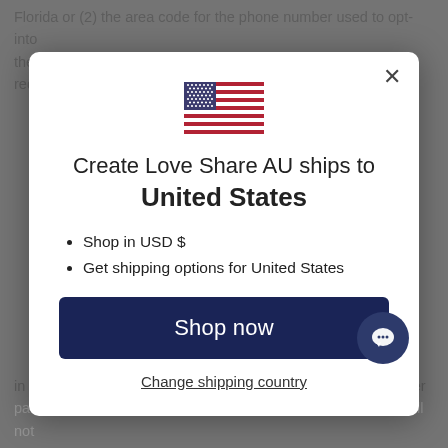Florida or (2) the area code for the phone number used to opt-into the Program is a Florida area code. You agree that the requirements
[Figure (screenshot): Modal dialog showing a US flag icon with text 'Create Love Share AU ships to United States', bullet points 'Shop in USD $' and 'Get shipping options for United States', a 'Shop now' button, and a 'Change shipping country' link. A close (X) button is in the top right. A chat bubble icon is in the lower right corner.]
in breach of any other contract or obligation. The failure of either party to exercise in any respect any right provided for herein will not